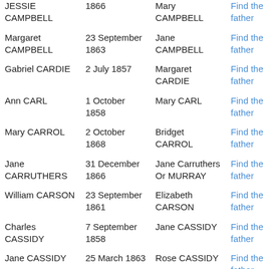| JESSIE CAMPBELL | 1866 | Mary CAMPBELL | Find the father |
| Margaret CAMPBELL | 23 September 1863 | Jane CAMPBELL | Find the father |
| Gabriel CARDIE | 2 July 1857 | Margaret CARDIE | Find the father |
| Ann CARL | 1 October 1858 | Mary CARL | Find the father |
| Mary CARROL | 2 October 1868 | Bridget CARROL | Find the father |
| Jane CARRUTHERS | 31 December 1866 | Jane Carruthers Or MURRAY | Find the father |
| William CARSON | 23 September 1861 | Elizabeth CARSON | Find the father |
| Charles CASSIDY | 7 September 1858 | Jane CASSIDY | Find the father |
| Jane CASSIDY | 25 March 1863 | Rose CASSIDY | Find the father |
| John CLARK | 5 April 1871 | Annie CLARK | Find the father |
|  |  |  | Find the |